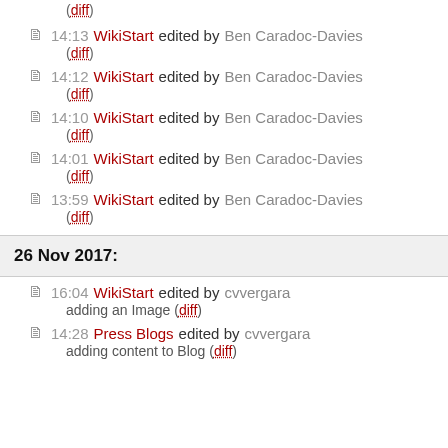(diff)
14:13 WikiStart edited by Ben Caradoc-Davies (diff)
14:12 WikiStart edited by Ben Caradoc-Davies (diff)
14:10 WikiStart edited by Ben Caradoc-Davies (diff)
14:01 WikiStart edited by Ben Caradoc-Davies (diff)
13:59 WikiStart edited by Ben Caradoc-Davies (diff)
26 Nov 2017:
16:04 WikiStart edited by cvvergara adding an Image (diff)
14:28 Press Blogs edited by cvvergara adding content to Blog (diff)